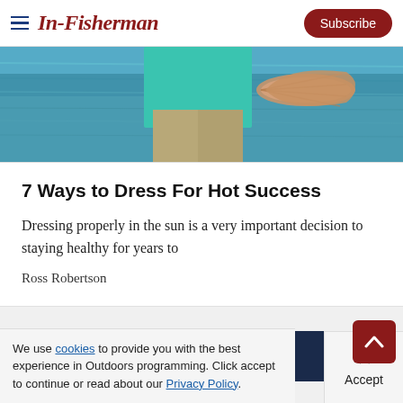In-Fisherman | Subscribe
[Figure (photo): Person holding a large fish with a distinctive fan-shaped tail on a boat, water in background]
7 Ways to Dress For Hot Success
Dressing properly in the sun is a very important decision to staying healthy for years to
Ross Robertson
[Figure (infographic): Advertisement banner showing ERA logo (orange text) and 'Trusted since 1934' on dark navy background with close button]
We use cookies to provide you with the best experience in Outdoors programming. Click accept to continue or read about our Privacy Policy.